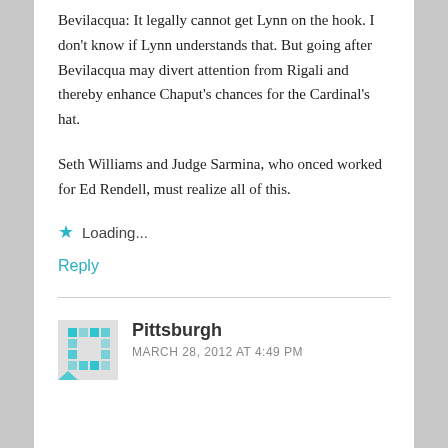Bevilacqua: It legally cannot get Lynn on the hook. I don't know if Lynn understands that. But going after Bevilacqua may divert attention from Rigali and thereby enhance Chaput's chances for the Cardinal's hat.
Seth Williams and Judge Sarmina, who onced worked for Ed Rendell, must realize all of this.
Loading...
Reply
Pittsburgh
MARCH 28, 2012 AT 4:49 PM